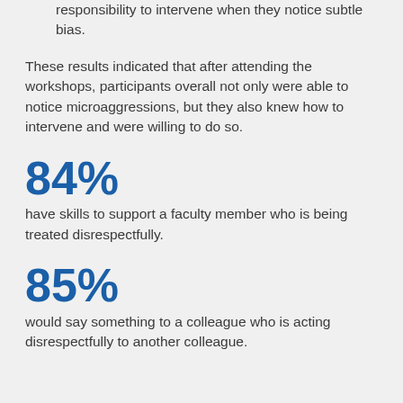responsibility to intervene when they notice subtle bias.
These results indicated that after attending the workshops, participants overall not only were able to notice microaggressions, but they also knew how to intervene and were willing to do so.
84%
have skills to support a faculty member who is being treated disrespectfully.
85%
would say something to a colleague who is acting disrespectfully to another colleague.